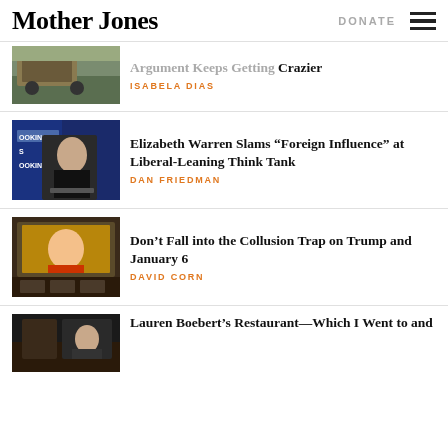Mother Jones | DONATE
[Figure (photo): Military vehicle near a wall]
Argument Keeps Getting Crazier
ISABELA DIAS
[Figure (photo): Man speaking at Brookings podium]
Elizabeth Warren Slams “Foreign Influence” at Liberal-Leaning Think Tank
DAN FRIEDMAN
[Figure (photo): Congressional hearing with screen showing Trump]
Don’t Fall into the Collusion Trap on Trump and January 6
DAVID CORN
[Figure (photo): Interior of a restaurant with people]
Lauren Boebert’s Restaurant—Which I Went to and